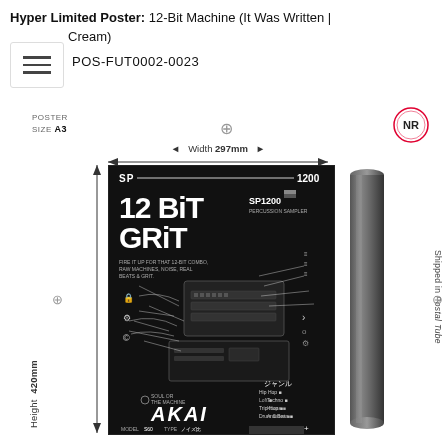Hyper Limited Poster: 12-Bit Machine (It Was Written | Cream)
POS-FUT0002-0023
POSTER SIZE A3
Width 297mm
Height 420mm
[Figure (illustration): Product page showing a dark A3 poster featuring '12 BIT GRIT' design with SP1200 sampler schematic artwork and AKAI branding, shown alongside a black postal tube for shipping. Dimension arrows indicate Width 297mm and Height 420mm.]
Shipped in Postal Tube